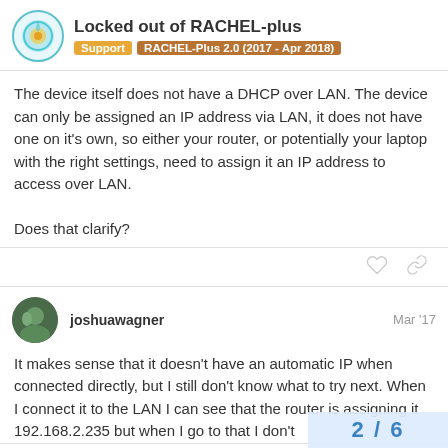Locked out of RACHEL-plus | Support | RACHEL-Plus 2.0 (2017 - Apr 2018)
The device itself does not have a DHCP over LAN. The device can only be assigned an IP address via LAN, it does not have one on it's own, so either your router, or potentially your laptop with the right settings, need to assign it an IP address to access over LAN.

Does that clarify?
joshuawagner  Mar '17
It makes sense that it doesn't have an automatic IP when connected directly, but I still don't know what to try next. When I connect it to the LAN I can see that the router is assigning it 192.168.2.235 but when I go to that I don't
2 / 6